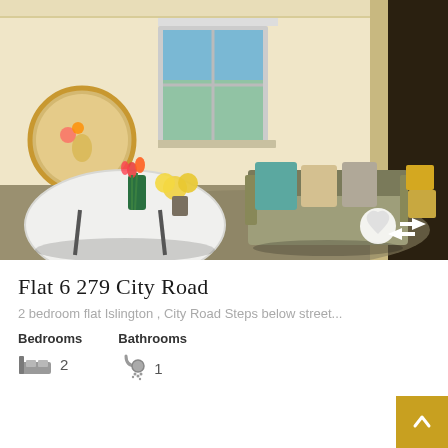[Figure (photo): Interior photo of a living room/dining area with a white oval table with flowers, a green vase, a round mirror on the wall, a grey sofa with blue and beige cushions, and a window with natural light.]
Flat 6 279 City Road
2 bedroom flat Islington , City Road Steps below street...
Bedrooms   Bathrooms
2             1